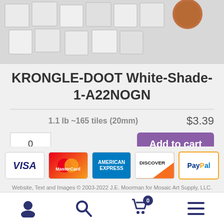[Figure (photo): Product photo showing white square mosaic tiles with a penny for scale, on a light background.]
KRONGLE-DOOT White-Shade-1-A22NOGN
1.1 lb ~165 tiles (20mm)   $3.39
0   Add to cart
[Figure (infographic): Payment method icons: VISA, MasterCard, American Express, Discover, PayPal]
Website, Text and Images © 2003-2022 J.E. Moorman for Mosaic Art Supply, LLC.
Bottom navigation bar with user, search, cart (0), and menu icons